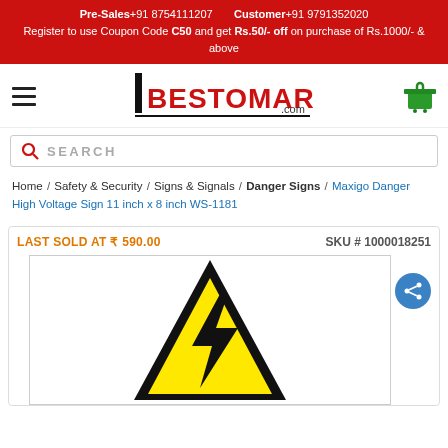Pre-Sales+91 8754111207   Customer+91 9791352020
Register to use Coupon Code C50 and get Rs.50/- off on purchase of Rs.1000/- & above
[Figure (logo): Bestomart.com logo with hamburger menu and cart icon]
SEARCH
Home / Safety & Security / Signs & Signals / Danger Signs / Maxigo Danger High Voltage Sign 11 inch x 8 inch WS-1181
LAST SOLD AT ₹ 590.00    SKU # 1000018251
[Figure (photo): Danger High Voltage warning sign — black triangle with yellow interior and black lightning bolt symbol]